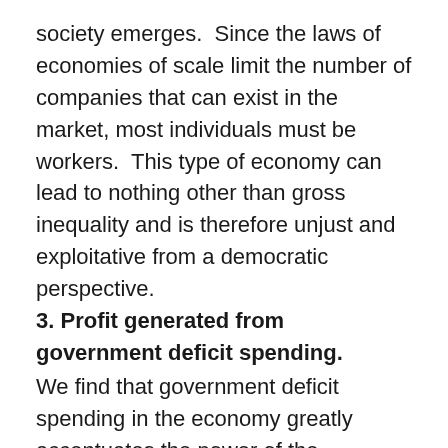society emerges.  Since the laws of economies of scale limit the number of companies that can exist in the market, most individuals must be workers.  This type of economy can lead to nothing other than gross inequality and is therefore unjust and exploitative from a democratic perspective.
3. Profit generated from government deficit spending.
We find that government deficit spending in the economy greatly accentuates the power of the ownership class.  Whereas the private system is zero sum and requires an accounting capitalization trick to provide profit, every deficit penny spent by the government is an increment of revenue coming from outside the system going right into profit and capitalized monetary power.  Deficit spending, therefore, is a major contributor to inequality within the capitalist system.  Of course, such monetary holdings